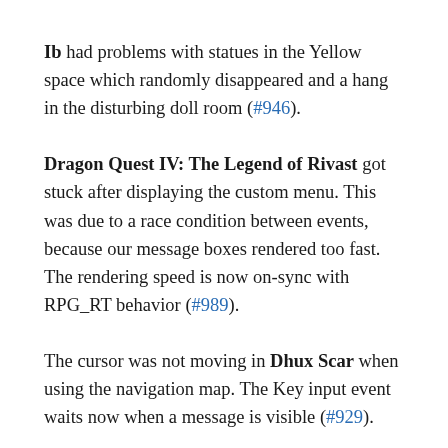Ib had problems with statues in the Yellow space which randomly disappeared and a hang in the disturbing doll room (#946).
Dragon Quest IV: The Legend of Rivast got stuck after displaying the custom menu. This was due to a race condition between events, because our message boxes rendered too fast. The rendering speed is now on-sync with RPG_RT behavior (#989).
The cursor was not moving in Dhux Scar when using the navigation map. The Key input event waits now when a message is visible (#929).